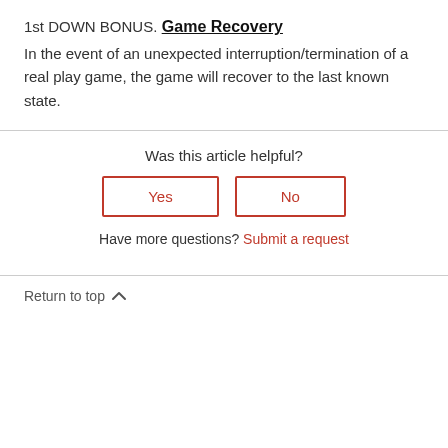1st DOWN BONUS.
Game Recovery
In the event of an unexpected interruption/termination of a real play game, the game will recover to the last known state.
Was this article helpful?
Yes
No
Have more questions? Submit a request
Return to top